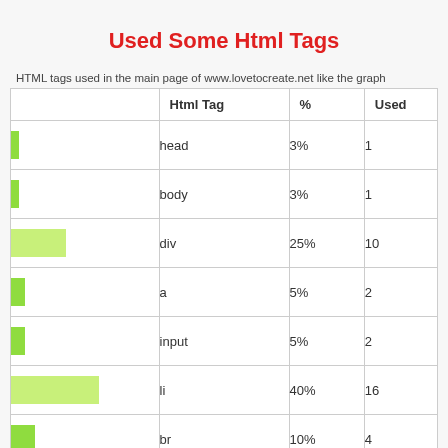Used Some Html Tags
HTML tags used in the main page of www.lovetocreate.net like the graph
|  | Html Tag | % | Used |
| --- | --- | --- | --- |
| [bar 3%] | head | 3% | 1 |
| [bar 3%] | body | 3% | 1 |
| [bar 25%] | div | 25% | 10 |
| [bar 5%] | a | 5% | 2 |
| [bar 5%] | input | 5% | 2 |
| [bar 40%] | li | 40% | 16 |
| [bar 10%] | br | 10% | 4 |